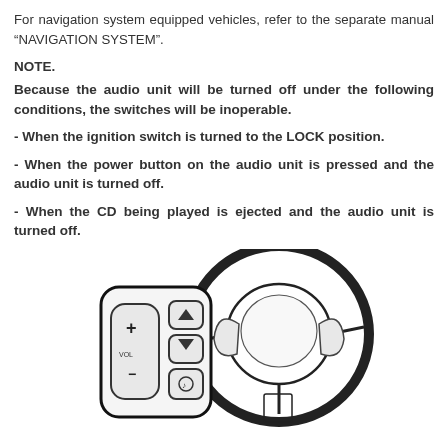For navigation system equipped vehicles, refer to the separate manual “NAVIGATION SYSTEM”.
NOTE.
Because the audio unit will be turned off under the following conditions, the switches will be inoperable.
- When the ignition switch is turned to the LOCK position.
- When the power button on the audio unit is pressed and the audio unit is turned off.
- When the CD being played is ejected and the audio unit is turned off.
[Figure (illustration): Technical illustration of a car steering wheel with an audio control panel/switch cluster on the left spoke, showing buttons including VOL+, VOL-, seek up, seek down, and a mode/source button.]